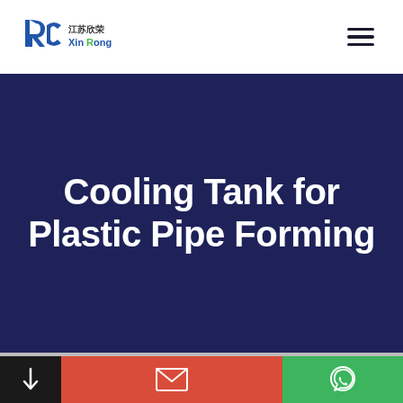[Figure (logo): Jiangsu Xinrong (RC XinRong) company logo with Chinese characters 江苏欣荣 and stylized RC mark in blue and green]
Cooling Tank for Plastic Pipe Forming
[Figure (infographic): Bottom navigation bar with three sections: black section with down arrow, red section with envelope/email icon, and green section with WhatsApp icon]